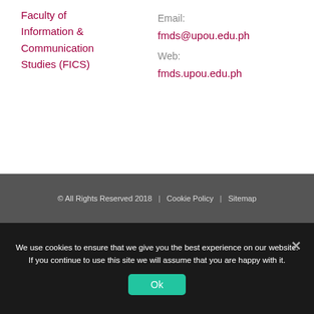Faculty of Information & Communication Studies (FICS)
Email: fmds@upou.edu.ph Web: fmds.upou.edu.ph
© All Rights Reserved 2018  |  Cookie Policy  |  Sitemap
We use cookies to ensure that we give you the best experience on our website. If you continue to use this site we will assume that you are happy with it.